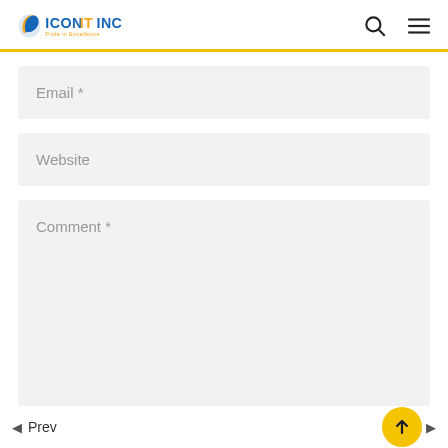ICONITINC - Pride in Excellence
Email *
Website
Comment *
Prev